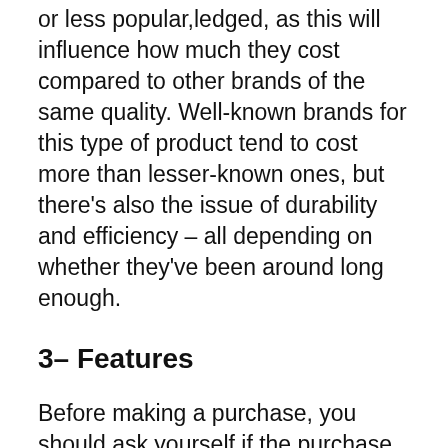or less popular,ledged, as this will influence how much they cost compared to other brands of the same quality. Well-known brands for this type of product tend to cost more than lesser-known ones, but there's also the issue of durability and efficiency – all depending on whether they've been around long enough.
3– Features
Before making a purchase, you should ask yourself if the purchase is really necessary. If it is not for everyday use, then you can save more money by choosing an alternate option that will suit your budget better.
Consider whether or how often an item